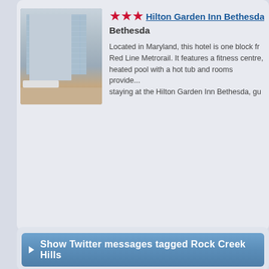[Figure (photo): Photo of Hilton Garden Inn Bethesda building exterior showing a multi-story hotel with glass facade and sidewalk]
★★★ Hilton Garden Inn Bethesda
Bethesda

Located in Maryland, this hotel is one block fr... Red Line Metrorail. It features a fitness centre, heated pool with a hot tub and rooms provide... staying at the Hilton Garden Inn Bethesda, gu...
Show Twitter messages tagged Rock Creek Hills
Show Wikipedia info on Rock Creek Hills